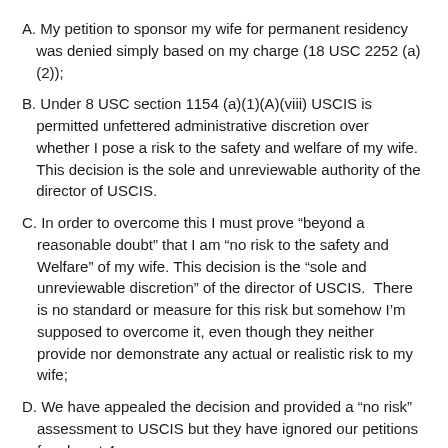A. My petition to sponsor my wife for permanent residency was denied simply based on my charge (18 USC 2252 (a)(2));
B. Under 8 USC section 1154 (a)(1)(A)(viii) USCIS is permitted unfettered administrative discretion over whether I pose a risk to the safety and welfare of my wife. This decision is the sole and unreviewable authority of the director of USCIS.
C. In order to overcome this I must prove “beyond a reasonable doubt” that I am “no risk to the safety and Welfare” of my wife. This decision is the “sole and unreviewable discretion” of the director of USCIS. There is no standard or measure for this risk but somehow I’m supposed to overcome it, even though they neither provide nor demonstrate any actual or realistic risk to my wife;
D. We have appealed the decision and provided a “no risk” assessment to USCIS but they have ignored our petitions for almost 4 years now;
E. During this, USCIS has not renewed my wife’s work authorization and Advance parole so she has been unable to work, unable to go to school, unable to get a driver’s license,